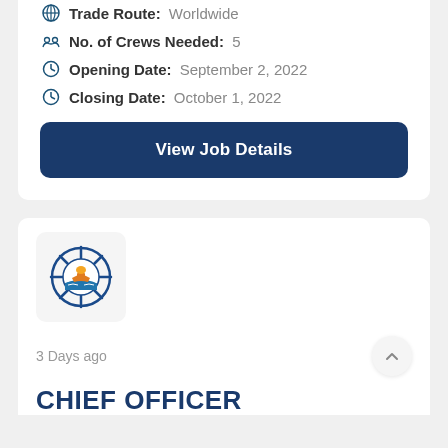Trade Route: Worldwide
No. of Crews Needed: 5
Opening Date: September 2, 2022
Closing Date: October 1, 2022
View Job Details
[Figure (logo): Shipping company logo: a ship's wheel with a ship and ocean scene in the center, orange and blue colors]
3 Days ago
CHIEF OFFICER